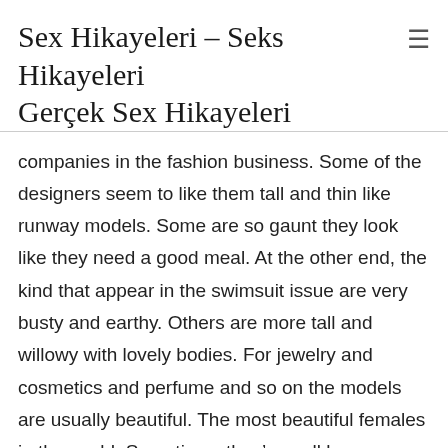Sex Hikayeleri – Seks Hikayeleri Gerçek Sex Hikayeleri
companies in the fashion business. Some of the designers seem to like them tall and thin like runway models. Some are so gaunt they look like they need a good meal. At the other end, the kind that appear in the swimsuit issue are very busty and earthy. Others are more tall and willowy with lovely bodies. For jewelry and cosmetics and perfume and so on the models are usually beautiful. The most beautiful females in the world. Sometimes they're well known actresses.Models are used to changing clothes and moving around in almost nothing. So I see a lot of female bodies in my work. Often very